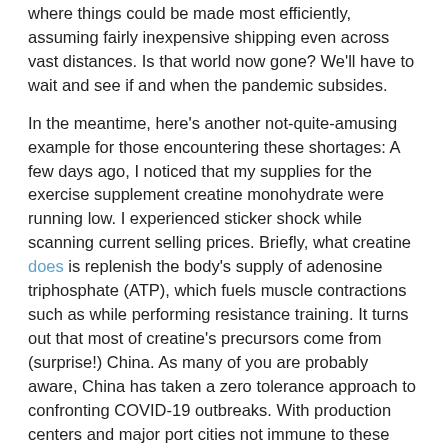where things could be made most efficiently, assuming fairly inexpensive shipping even across vast distances. Is that world now gone? We'll have to wait and see if and when the pandemic subsides.
In the meantime, here's another not-quite-amusing example for those encountering these shortages: A few days ago, I noticed that my supplies for the exercise supplement creatine monohydrate were running low. I experienced sticker shock while scanning current selling prices. Briefly, what creatine does is replenish the body's supply of adenosine triphosphate (ATP), which fuels muscle contractions such as while performing resistance training. It turns out that most of creatine's precursors come from (surprise!) China. As many of you are probably aware, China has taken a zero tolerance approach to confronting COVID-19 outbreaks. With production centers and major port cities not immune to these recurrent lockdowns, creatine supplies have taken a hit. Here is a detailed and enlightening discussion of the ongoing creatine shortage from the Natural Products Insider:
Strict export regulations and regional COVID